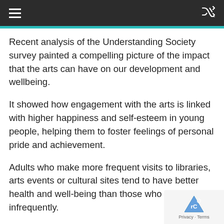≡  [shuffle icon]
Recent analysis of the Understanding Society survey painted a compelling picture of the impact that the arts can have on our development and wellbeing.
It showed how engagement with the arts is linked with higher happiness and self-esteem in young people, helping them to foster feelings of personal pride and achievement.
Adults who make more frequent visits to libraries, arts events or cultural sites tend to have better health and well-being than those who visit infrequently.
So culture plays a big part in making us healthi... and happier people. But it also provides some of...